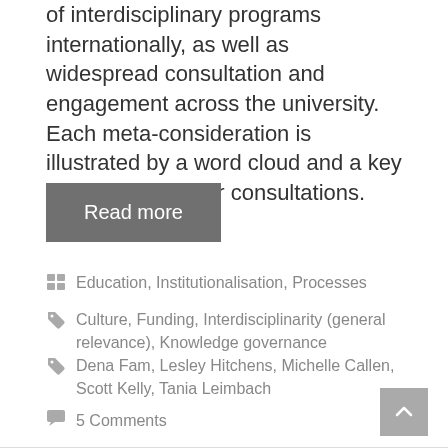of interdisciplinary programs internationally, as well as widespread consultation and engagement across the university. Each meta-consideration is illustrated by a word cloud and a key quotation from our consultations.
Read more
Education, Institutionalisation, Processes
Culture, Funding, Interdisciplinarity (general relevance), Knowledge governance
Dena Fam, Lesley Hitchens, Michelle Callen, Scott Kelly, Tania Leimbach
5 Comments